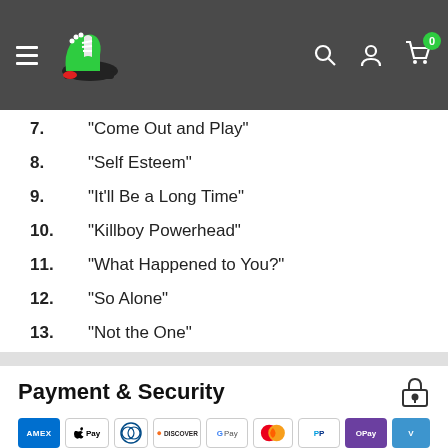[Figure (logo): Green sneaker/boot logo on dark gray navigation bar with hamburger menu, search, account, and cart icons]
7. "Come Out and Play"
8. "Self Esteem"
9. "It'll Be a Long Time"
10. "Killboy Powerhead"
11. "What Happened to You?"
12. "So Alone"
13. "Not the One"
14. "Smash"
Payment & Security
[Figure (other): Payment method icons: AMEX, Apple Pay, Diners Club, Discover, Google Pay, Mastercard, PayPal, OPay, Venmo]